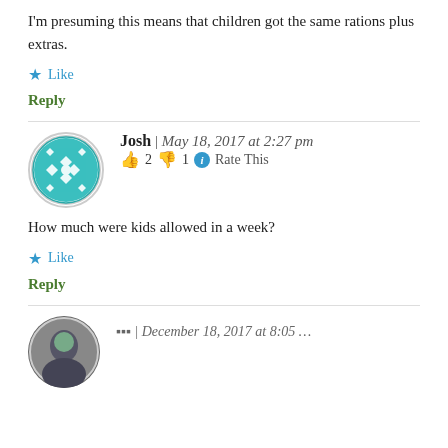I'm presuming this means that children got the same rations plus extras.
Like
Reply
Josh | May 18, 2017 at 2:27 pm
👍 2 👎 1 ℹ Rate This
How much were kids allowed in a week?
Like
Reply